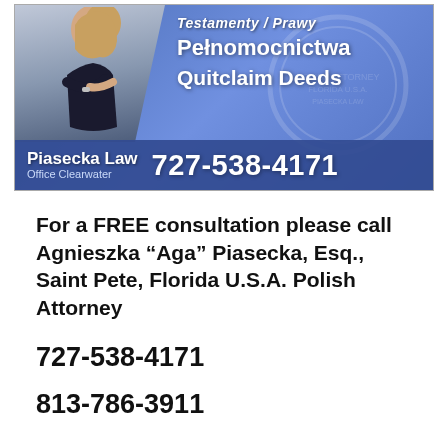[Figure (advertisement): Law firm advertisement banner with photo of female attorney in black dress, blue gradient background with watermark seal, Polish and English text: 'Pełnomocnictwa', 'Quitclaim Deeds', firm name 'Piasecka Law Office Clearwater' and phone number '727-538-4171']
For a FREE consultation please call Agnieszka “Aga” Piasecka, Esq., Saint Pete, Florida U.S.A. Polish Attorney
727-538-4171
813-786-3911